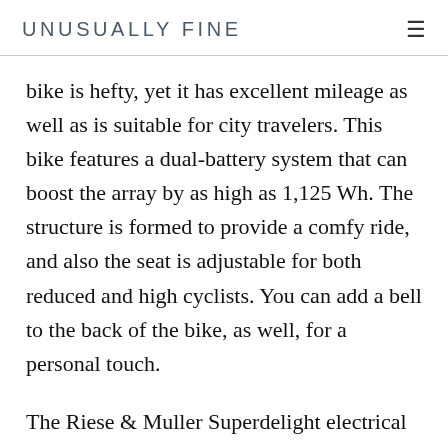UNUSUALLY FINE
bike is hefty, yet it has excellent mileage as well as is suitable for city travelers. This bike features a dual-battery system that can boost the array by as high as 1,125 Wh. The structure is formed to provide a comfy ride, and also the seat is adjustable for both reduced and high cyclists. You can add a bell to the back of the bike, as well, for a personal touch.
The Riese & Muller Superdelight electrical bike is a high-end product, built with high-